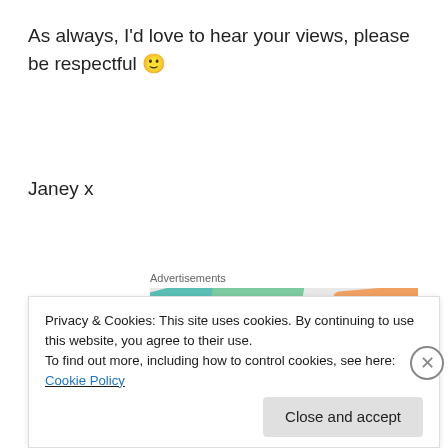As always, I’d love to hear your views, please be respectful 🙂
Janey x
Advertisements
[Figure (other): Advertisement image for WordPress VIP showing various brand logos including Meta, Facebook, Capgemini on colorful cards. Center circle reads: We're the WordPress CMS for Very Important Content. WordPress VIP logo shown below.]
Privacy & Cookies: This site uses cookies. By continuing to use this website, you agree to their use.
To find out more, including how to control cookies, see here: Cookie Policy